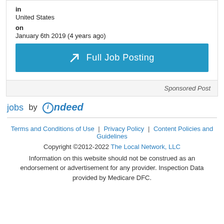in
United States
on
January 6th 2019 (4 years ago)
Full Job Posting
Sponsored Post
jobs by indeed
Terms and Conditions of Use | Privacy Policy | Content Policies and Guidelines
Copyright ©2012-2022 The Local Network, LLC
Information on this website should not be construed as an endorsement or advertisement for any provider. Inspection Data provided by Medicare DFC.